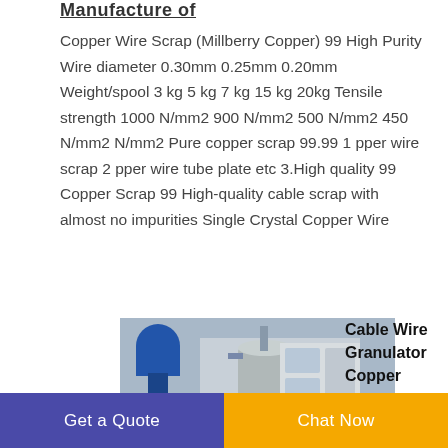Manufacture of
Copper Wire Scrap (Millberry Copper) 99 High Purity Wire diameter 0.30mm 0.25mm 0.20mm Weight/spool 3 kg 5 kg 7 kg 15 kg 20kg Tensile strength 1000 N/mm2 900 N/mm2 500 N/mm2 450 N/mm2 N/mm2 Pure copper scrap 99.99 1 pper wire scrap 2 pper wire tube plate etc 3.High quality 99 Copper Scrap 99 High-quality cable scrap with almost no impurities Single Crystal Copper Wire
[Figure (photo): Industrial cable wire granulator / copper cable wire recycling machine in a facility setting]
Cable Wire Granulator Copper Cable Wire Recycling Machine
Get a Quote
Chat Now